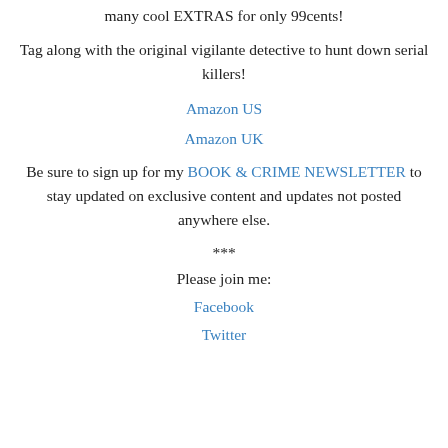many cool EXTRAS for only 99cents!
Tag along with the original vigilante detective to hunt down serial killers!
Amazon US
Amazon UK
Be sure to sign up for my BOOK & CRIME NEWSLETTER to stay updated on exclusive content and updates not posted anywhere else.
***
Please join me:
Facebook
Twitter